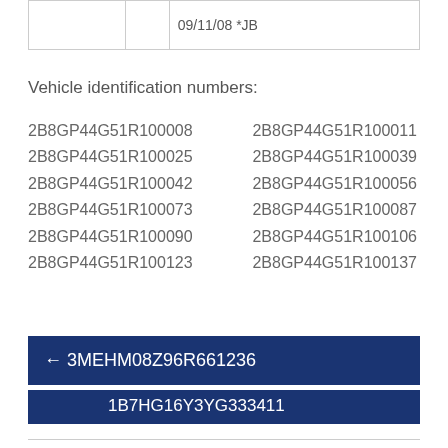|  |  | 09/11/08 *JB |
| --- | --- | --- |
|  |  | 09/11/08 *JB |
Vehicle identification numbers:
2B8GP44G51R100008 2B8GP44G51R100011
2B8GP44G51R100025 2B8GP44G51R100039
2B8GP44G51R100042 2B8GP44G51R100056
2B8GP44G51R100073 2B8GP44G51R100087
2B8GP44G51R100090 2B8GP44G51R100106
2B8GP44G51R100123 2B8GP44G51R100137
← 3MEHM08Z96R661236
1B7HG16Y3YG333411